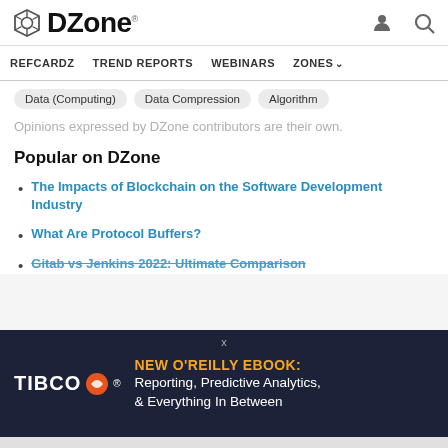DZone
REFCARDZ  TREND REPORTS  WEBINARS  ZONES
Data (Computing)
Data Compression
Algorithm
Opinions expressed by DZone contributors are their own.
Popular on DZone
The Impacts of Blockchain on the Software Development Industry
What Are Protocol Buffers?
Gitab vs Jenkins 2022: Ultimate Comparison
[Figure (other): TIBCO advertisement banner with text: NEW O'REILLY EBOOK: Reporting, Predictive Analytics, & Everything In Between]